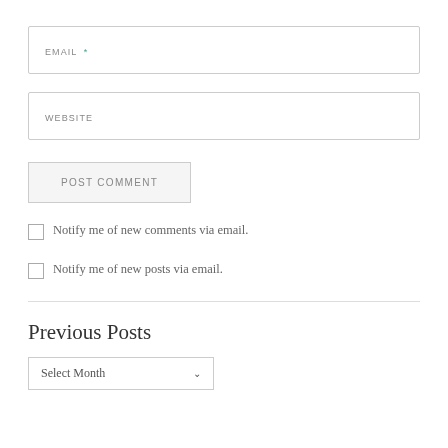EMAIL *
WEBSITE
POST COMMENT
Notify me of new comments via email.
Notify me of new posts via email.
Previous Posts
Select Month